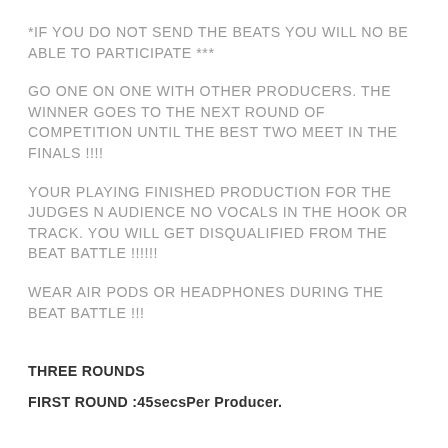*IF YOU DO NOT SEND THE BEATS YOU WILL NO BE ABLE TO PARTICIPATE ***
GO ONE ON ONE WITH OTHER PRODUCERS. THE WINNER GOES TO THE NEXT ROUND OF COMPETITION UNTIL THE BEST TWO MEET IN THE FINALS !!!!
YOUR PLAYING FINISHED PRODUCTION FOR THE JUDGES N AUDIENCE NO VOCALS IN THE HOOK OR TRACK. YOU WILL GET DISQUALIFIED FROM THE BEAT BATTLE !!!!!!
WEAR AIR PODS OR HEADPHONES DURING THE BEAT BATTLE !!!
THREE ROUNDS
FIRST ROUND :45secsPer Producer.